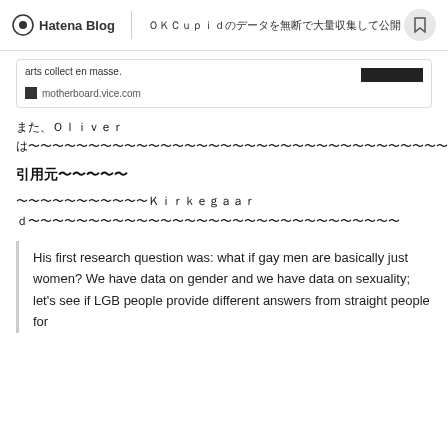Hatena Blog | ＯＫＣｕｐｉｄのデータを無断で大量収集して公開
arts collect en masse.
motherboard.vice.com
また、Oliverは〜〜〜〜〜〜〜〜〜〜〜〜〜〜〜〜〜〜〜〜〜〜〜〜〜〜〜〜〜〜〜〜〜〜〜〜〜〜〜〜〜〜〜〜〜〜〜〜〜〜〜〜〜〜〜〜〜〜〜〜〜〜〜〜〜〜〜〜〜〜〜〜〜〜〜〜〜〜〜〜〜〜〜〜〜〜〜〜〜〜〜〜〜〜〜〜〜〜〜〜〜〜〜〜〜〜〜〜〜〜〜〜〜〜〜〜〜
引用元〜〜〜〜〜
〜〜〜〜〜〜〜〜〜〜〜Kirkegaard〜〜〜〜〜〜〜〜〜〜〜〜〜〜〜〜〜〜〜〜〜〜〜〜〜〜〜〜〜〜〜
His first research question was: what if gay men are basically just women? We have data on gender and we have data on sexuality; let's see if LGB people provide different answers from straight people for